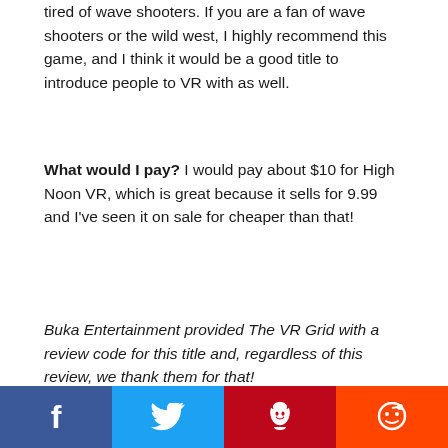tired of wave shooters. If you are a fan of wave shooters or the wild west, I highly recommend this game, and I think it would be a good title to introduce people to VR with as well.
What would I pay? I would pay about $10 for High Noon VR, which is great because it sells for 9.99 and I've seen it on sale for cheaper than that!
Buka Entertainment provided The VR Grid with a review code for this title and, regardless of this review, we thank them for that!
[Figure (screenshot): YouTube-style video embed bar with Buka red circle logo, title 'High Noon VR — Launch Trailer', and a thumbnail showing a western game scene with geometric shapes.]
Facebook | Twitter | Pinterest | Reddit social share bar